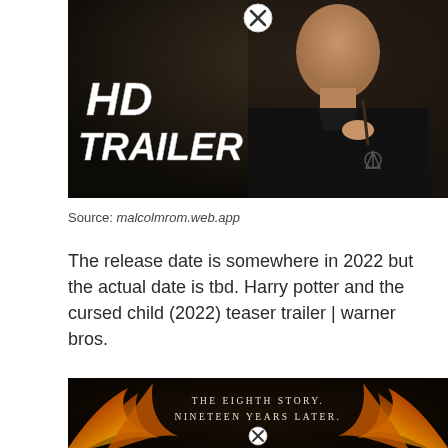[Figure (photo): Screenshot of a YouTube-style video thumbnail showing a man in a black knit sweater holding a wand, with 'HD TRAILER' text in white bold font on the left side, and a circular X close button at the top center. Dark moody background.]
Source: malcolmrom.web.app
The release date is somewhere in 2022 but the actual date is tbd. Harry potter and the cursed child (2022) teaser trailer | warner bros.
[Figure (photo): Movie poster image for Harry Potter and the Cursed Child showing golden/orange fiery phoenix wings spread wide against a dark background. Text reads 'THE EIGHTH STORY. NINETEEN YEARS LATER.' in white serif letters. A circular X close button is visible at the bottom center.]